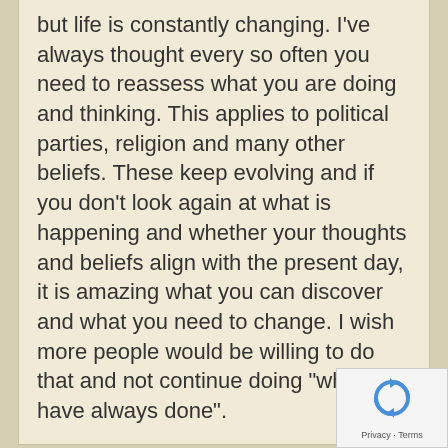but life is constantly changing. I've always thought every so often you need to reassess what you are doing and thinking. This applies to political parties, religion and many other beliefs. These keep evolving and if you don't look again at what is happening and whether your thoughts and beliefs align with the present day, it is amazing what you can discover and what you need to change. I wish more people would be willing to do that and not continue doing "what they have always done".
Posted Jan. 21, 2021
jeannew  Join Date: 04/23/11  Posts: 118
RE: Gates asks, "How do you follow your plan and yet keep listening to new ideas?" Have